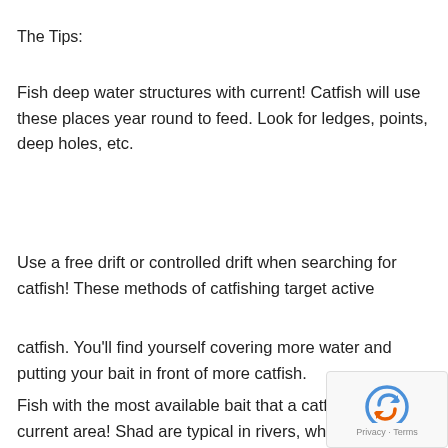The Tips:
Fish deep water structures with current! Catfish will use these places year round to feed. Look for ledges, points, deep holes, etc.
Use a free drift or controlled drift when searching for catfish! These methods of catfishing target active
catfish. You'll find yourself covering more water and putting your bait in front of more catfish.
Fish with the most available bait that a catfish might se current area! Shad are typical in rivers, while it could be bream